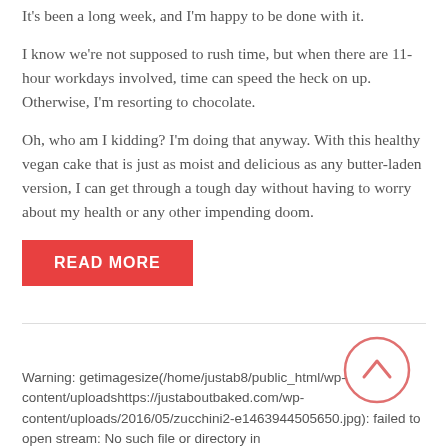It's been a long week, and I'm happy to be done with it.
I know we're not supposed to rush time, but when there are 11-hour workdays involved, time can speed the heck on up. Otherwise, I'm resorting to chocolate.
Oh, who am I kidding? I'm doing that anyway. With this healthy vegan cake that is just as moist and delicious as any butter-laden version, I can get through a tough day without having to worry about my health or any other impending doom.
READ MORE
[Figure (other): Circular scroll-to-top button with upward chevron arrow, salmon/coral colored outline and arrow]
Warning: getimagesize(/home/justab8/public_html/wp-content/uploadshttps://justaboutbaked.com/wp-content/uploads/2016/05/zucchini2-e1463944505650.jpg): failed to open stream: No such file or directory in